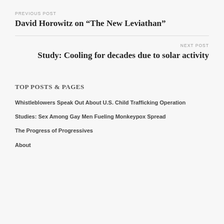PREVIOUS POST
David Horowitz on “The New Leviathan”
NEXT POST
Study: Cooling for decades due to solar activity
TOP POSTS & PAGES
Whistleblowers Speak Out About U.S. Child Trafficking Operation
Studies: Sex Among Gay Men Fueling Monkeypox Spread
The Progress of Progressives
About